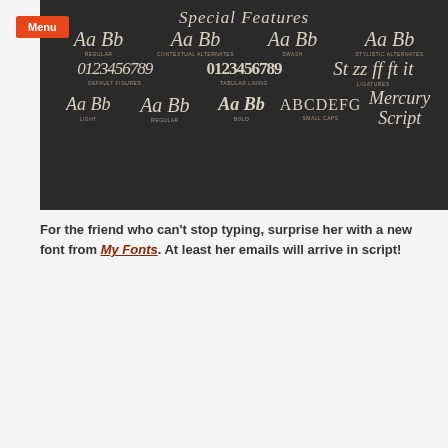[Figure (illustration): Chalkboard image showing Mercury Script font special features: Regular, Contextual Alternates, Swash, Stylistic Alternates, Default Figures, Tabular Lining, Ligatures, Light, Regular, Bold, Small Caps, and Mercury Script logo]
For the friend who can't stop typing, surprise her with a new font from My Fonts. At least her emails will arrive in script!